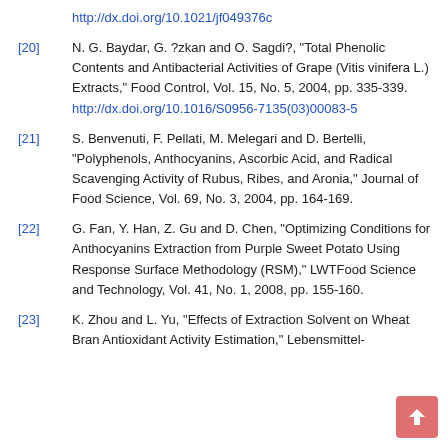http://dx.doi.org/10.1021/jf049376c
[20] N. G. Baydar, G. ?zkan and O. Sagdi?, "Total Phenolic Contents and Antibacterial Activities of Grape (Vitis vinifera L.) Extracts," Food Control, Vol. 15, No. 5, 2004, pp. 335-339. http://dx.doi.org/10.1016/S0956-7135(03)00083-5
[21] S. Benvenuti, F. Pellati, M. Melegari and D. Bertelli, "Polyphenols, Anthocyanins, Ascorbic Acid, and Radical Scavenging Activity of Rubus, Ribes, and Aronia," Journal of Food Science, Vol. 69, No. 3, 2004, pp. 164-169.
[22] G. Fan, Y. Han, Z. Gu and D. Chen, "Optimizing Conditions for Anthocyanins Extraction from Purple Sweet Potato Using Response Surface Methodology (RSM)," LWTFood Science and Technology, Vol. 41, No. 1, 2008, pp. 155-160.
[23] K. Zhou and L. Yu, "Effects of Extraction Solvent on Wheat Bran Antioxidant Activity Estimation," Lebensmittel-